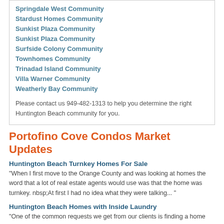Springdale West Community
Stardust Homes Community
Sunkist Plaza Community
Sunkist Plaza Community
Surfside Colony Community
Townhomes Community
Trinadad Island Community
Villa Warner Community
Weatherly Bay Community
Please contact us 949-482-1313 to help you determine the right Huntington Beach community for you.
Portofino Cove Condos Market Updates
Huntington Beach Turnkey Homes For Sale
"When I first move to the Orange County and was looking at homes the word that a lot of real estate agents would use was that the home was turnkey. nbsp;At first I had no idea what they were talking... "
Huntington Beach Homes with Inside Laundry
"One of the common requests we get from our clients is finding a home that comes with inside laundry. nbsp;Of course, for larger homes this a pretty much a common thing to have as many luxury homes... "